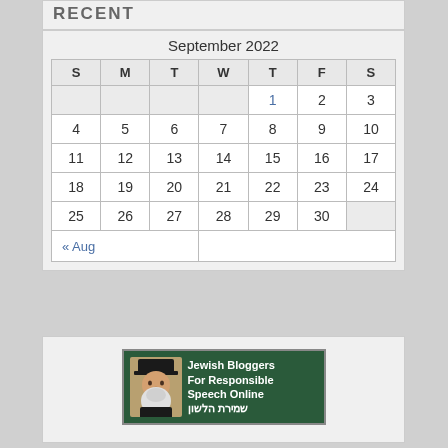RECENT
| S | M | T | W | T | F | S |
| --- | --- | --- | --- | --- | --- | --- |
|  |  |  |  | 1 | 2 | 3 |
| 4 | 5 | 6 | 7 | 8 | 9 | 10 |
| 11 | 12 | 13 | 14 | 15 | 16 | 17 |
| 18 | 19 | 20 | 21 | 22 | 23 | 24 |
| 25 | 26 | 27 | 28 | 29 | 30 |  |
| « Aug |  |  |  |  |  |  |
[Figure (infographic): Jewish Bloggers For Responsible Speech Online banner with rabbi photo and Hebrew text שמירת הלשון on dark green background]